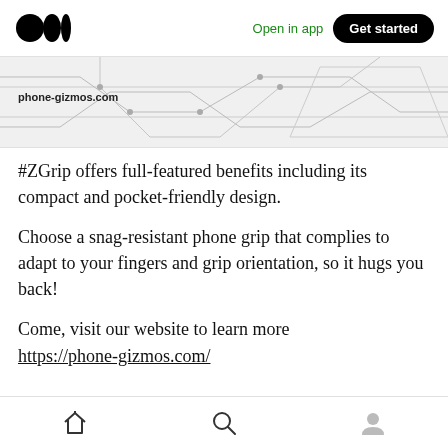Medium logo | Open in app | Get started
[Figure (screenshot): Partial screenshot of phone-gizmos.com website with circuit board background graphic]
#ZGrip offers full-featured benefits including its compact and pocket-friendly design.
Choose a snag-resistant phone grip that complies to adapt to your fingers and grip orientation, so it hugs you back!
Come, visit our website to learn more https://phone-gizmos.com/
Home | Search | Profile icons